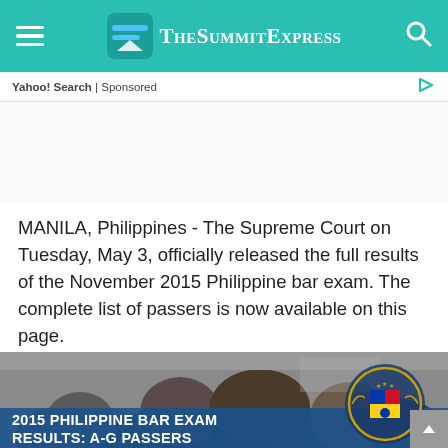TheSummitExpress
Yahoo! Search | Sponsored
MANILA, Philippines - The Supreme Court on Tuesday, May 3, officially released the full results of the November 2015 Philippine bar exam. The complete list of passers is now available on this page.
[Figure (photo): Crowd of people outside a building, with a woman in the foreground; overlay text reads '2015 PHILIPPINE BAR EXAM RESULTS: A-G PASSERS' and the Supreme Court of the Philippines seal is visible.]
2015 PHILIPPINE BAR EXAM RESULTS: A-G PASSERS